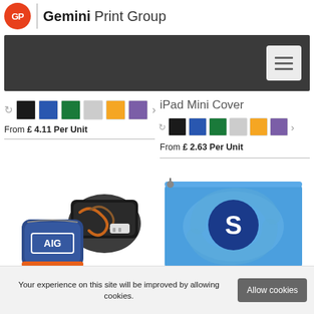[Figure (logo): Gemini Print Group logo with orange circle GP icon and bold text]
[Figure (screenshot): Dark grey navigation bar with hamburger menu button]
[Figure (other): Color swatches row: black, blue, green, grey, orange, purple with refresh and arrow icons - product 1]
From £ 4.11 Per Unit
iPad Mini Cover
[Figure (other): Color swatches row: black, blue, green, grey, orange, purple with refresh and arrow icons - iPad Mini Cover]
From £ 2.63 Per Unit
[Figure (photo): AIG branded navy travel case with cables and accessories spilling out, orange interior]
[Figure (photo): Blue branded zip pouch with S logo in dark blue circle on light blue background]
Your experience on this site will be improved by allowing cookies.
Allow cookies